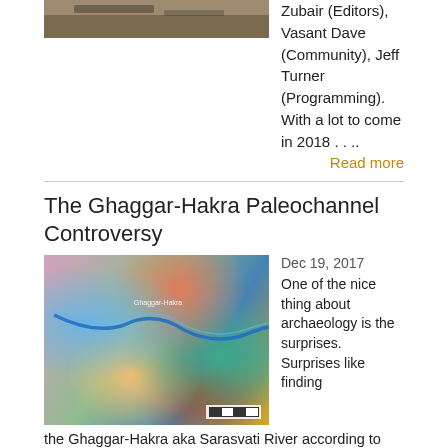Zubair (Editors), Vasant Dave (Community), Jeff Turner (Programming). With a lot to come in 2018 . . ..
Read more
The Ghaggar-Hakra Paleochannel Controversy
[Figure (photo): Colorful satellite/remote sensing image of the Ghaggar-Hakra paleochannel region with a scale bar in the lower right]
Dec 19, 2017
One of the nice thing about archaeology is the surprises. Surprises like finding the Ghaggar-Hakra aka Sarasvati River according to some was not flowing in any big way during the Indus period (3500 BCE-1800 BCE).
Read more
The British Museum's New Ancient Indus Exhibit
[Figure (photo): Photograph of the British Museum Ancient Indus exhibit display case]
Dec 13, 2017
Photographs of the